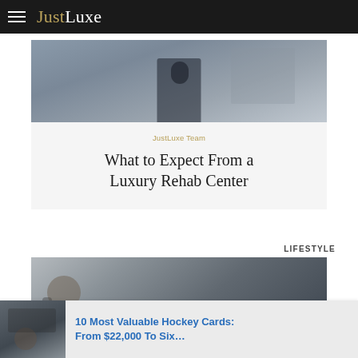JustLuxe
[Figure (photo): Person sitting in chair, viewed from below/side, rehab center context]
JustLuxe Team
What to Expect From a Luxury Rehab Center
LIFESTYLE
[Figure (photo): Man wearing glasses looking at a laptop screen]
[Figure (photo): Thumbnail image for hockey cards article]
10 Most Valuable Hockey Cards: From $22,000 To Six…